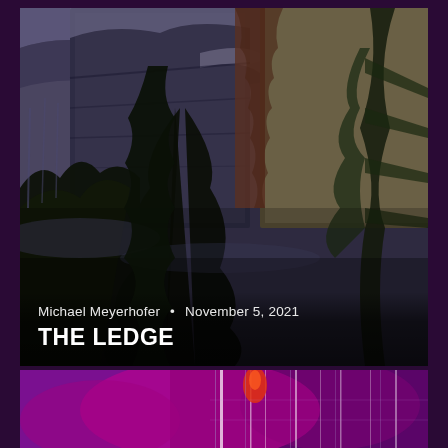[Figure (photo): Outdoor mountain winter landscape with pine trees in foreground, snow-covered rocky cliffs in background, dark moody tones with some color]
Michael Meyerhofer • November 5, 2021
THE LEDGE
[Figure (photo): Abstract colorful image with purple and pink tones, light streaks on dark background, partial view at bottom of page]